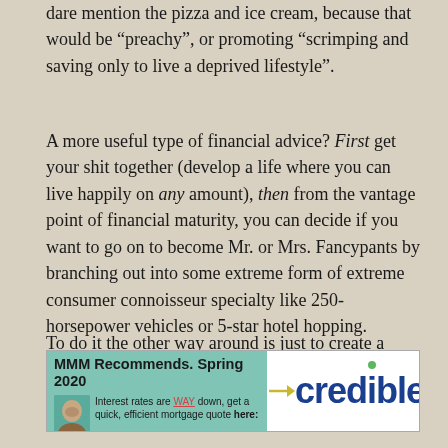dare mention the pizza and ice cream, because that would be “preachy”, or promoting “scrimping and saving only to live a deprived lifestyle”.
A more useful type of financial advice? First get your shit together (develop a life where you can live happily on any amount), then from the vantage point of financial maturity, you can decide if you want to go on to become Mr. or Mrs. Fancypants by branching out into some extreme form of extreme consumer connoisseur specialty like 250-horsepower vehicles or 5-star hotel hopping.
To do it the other way around is just to create a lifetime of unnecessary monetary stress – which is bad advice.
[Figure (advertisement): MMM Recommends. Spring 2020 advertisement for Credible mortgage quotes. Left side has teal background with man's photo, text reads: Interest rates are WAY down, get a quick, efficient mortgage quote here: Right side shows Credible logo in dark blue bold text with green dot over the i.]